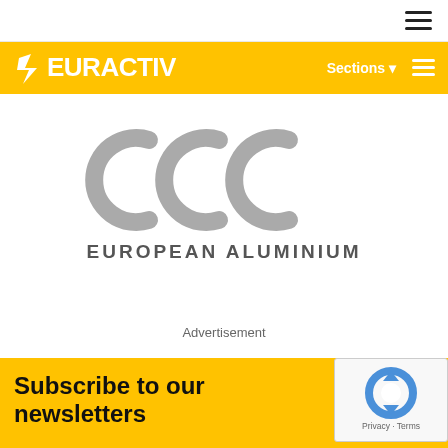[Figure (logo): Hamburger menu icon (three horizontal lines) in top right navigation bar]
[Figure (logo): EURACTIV logo on yellow header bar with star/arrow icon, 'Sections' dropdown and hamburger menu on right]
[Figure (logo): European Aluminium logo: three interlocking C-shaped grey rings above text 'EUROPEAN ALUMINIUM']
Advertisement
[Figure (logo): reCAPTCHA badge with Google reCAPTCHA logo (curved arrow in circle), Privacy and Terms links]
Subscribe to our newsletters